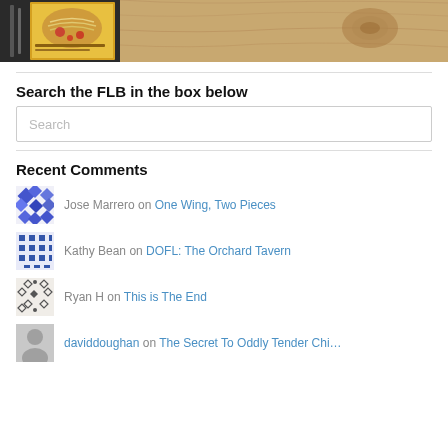[Figure (photo): Cropped photo showing a cookbook with pasta dish on the cover, alongside a wooden cutting board]
Search the FLB in the box below
[Figure (screenshot): Search input box with placeholder text 'Search']
Recent Comments
Jose Marrero on One Wing, Two Pieces
Kathy Bean on DOFL: The Orchard Tavern
Ryan H on This is The End
daviddoughan on The Secret To Oddly Tender Chi…